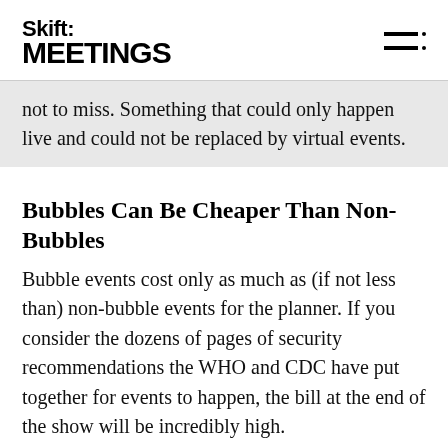Skift MEETINGS
not to miss. Something that could only happen live and could not be replaced by virtual events.
Bubbles Can Be Cheaper Than Non-Bubbles
Bubble events cost only as much as (if not less than) non-bubble events for the planner. If you consider the dozens of pages of security recommendations the WHO and CDC have put together for events to happen, the bill at the end of the show will be incredibly high.